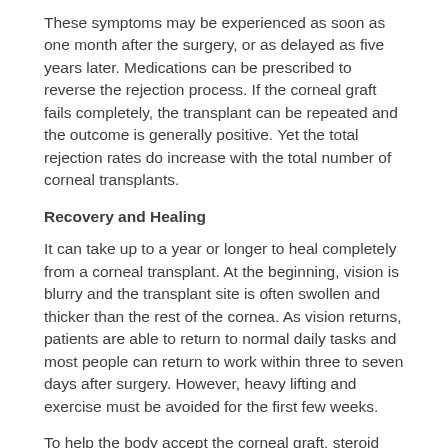These symptoms may be experienced as soon as one month after the surgery, or as delayed as five years later. Medications can be prescribed to reverse the rejection process. If the corneal graft fails completely, the transplant can be repeated and the outcome is generally positive. Yet the total rejection rates do increase with the total number of corneal transplants.
Recovery and Healing
It can take up to a year or longer to heal completely from a corneal transplant. At the beginning, vision is blurry and the transplant site is often swollen and thicker than the rest of the cornea. As vision returns, patients are able to return to normal daily tasks and most people can return to work within three to seven days after surgery. However, heavy lifting and exercise must be avoided for the first few weeks.
To help the body accept the corneal graft, steroid eye drops must be applied for several months. A pair of eyeglasses or a protective shield must also be worn for eye safety. Depending upon the health of the eye and the healing rate, stitches may be